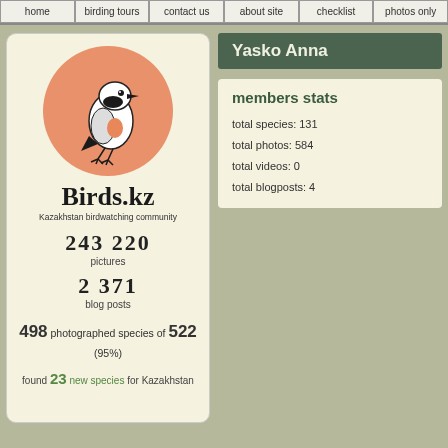home | birding tours | contact us | about site | checklist | photos only
[Figure (logo): Birds.kz logo with bird illustration on orange circle, Kazakhstan birdwatching community]
Birds.kz
Kazakhstan birdwatching community
243 220
pictures
2 371
blog posts
498 photographed species of 522
(95%)
found 23 new species for Kazakhstan
Yasko Anna
members stats
total species: 131
total photos: 584
total videos: 0
total blogposts: 4